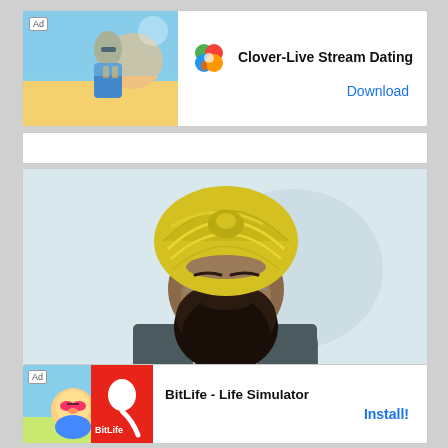[Figure (screenshot): Top advertisement banner for Clover-Live Stream Dating app with beach photo and clover icon]
[Figure (photo): Photo of Gurmeet Singh Khudian, a man wearing a yellow turban and glasses with a long dark beard]
Gurmeet Singh Khudian Wiki, Age, Height, Wife, ...
Advertisement
[Figure (screenshot): Bottom advertisement banner for BitLife - Life Simulator app]